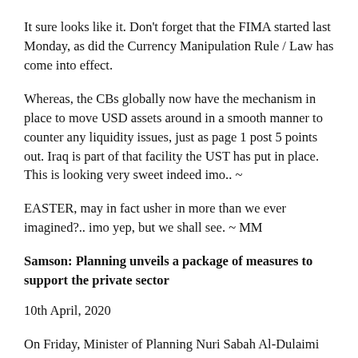It sure looks like it. Don't forget that the FIMA started last Monday, as did the Currency Manipulation Rule / Law has come into effect.
Whereas, the CBs globally now have the mechanism in place to move USD assets around in a smooth manner to counter any liquidity issues, just as page 1 post 5 points out. Iraq is part of that facility the UST has put in place. This is looking very sweet indeed imo.. ~
EASTER, may in fact usher in more than we ever imagined?.. imo yep, but we shall see. ~ MM
Samson:  Planning unveils a package of measures to support the private sector
10th April, 2020
On Friday, Minister of Planning Nuri Sabah Al-Dulaimi